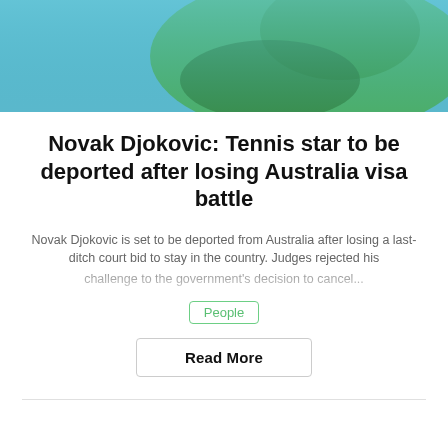[Figure (photo): Person wearing a green top against a blue background, viewed from the side/back]
Novak Djokovic: Tennis star to be deported after losing Australia visa battle
Novak Djokovic is set to be deported from Australia after losing a last-ditch court bid to stay in the country. Judges rejected his challenge to the government's decision to cancel...
People
Read More